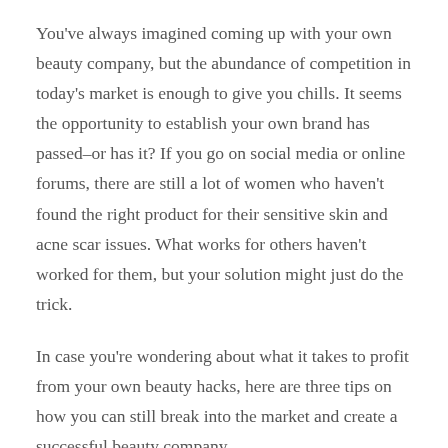You've always imagined coming up with your own beauty company, but the abundance of competition in today's market is enough to give you chills. It seems the opportunity to establish your own brand has passed–or has it? If you go on social media or online forums, there are still a lot of women who haven't found the right product for their sensitive skin and acne scar issues. What works for others haven't worked for them, but your solution might just do the trick.
In case you're wondering about what it takes to profit from your own beauty hacks, here are three tips on how you can still break into the market and create a successful beauty company.
Compelling Story, Compelling Selling Point